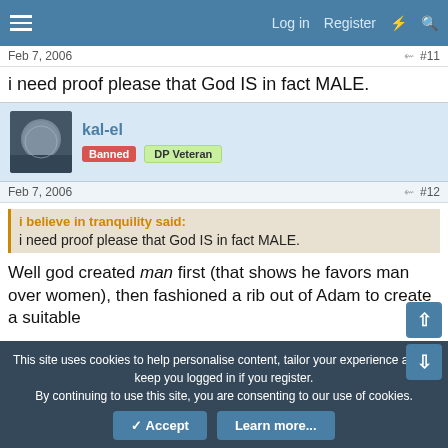Log in  Register
Feb 7, 2006  #11
i need proof please that God IS in fact MALE.
kal-el  Banned  DP Veteran
Feb 7, 2006  #12
i believe in tranquility said:
i need proof please that God IS in fact MALE.
Well god created man first (that shows he favors man over women), then fashioned a rib out of Adam to create a suitable helper for him. God is a man because from male also in the bible...
This site uses cookies to help personalise content, tailor your experience and to keep you logged in if you register.
By continuing to use this site, you are consenting to our use of cookies.
✓ Accept   Learn more...